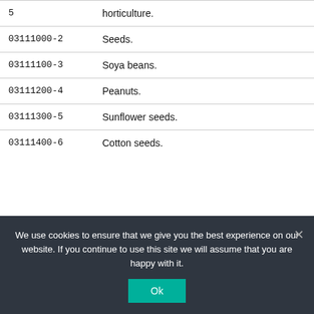| Code | Description |
| --- | --- |
| 5 | horticulture. |
| 03111000-2 | Seeds. |
| 03111100-3 | Soya beans. |
| 03111200-4 | Peanuts. |
| 03111300-5 | Sunflower seeds. |
| 03111400-6 | Cotton seeds. |
We use cookies to ensure that we give you the best experience on our website. If you continue to use this site we will assume that you are happy with it.